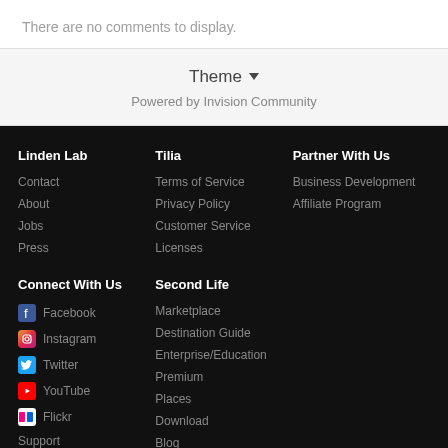There are no comments to display.
Theme ▾
Powered by Invision Community
Linden Lab
Contact
About
Jobs
Press
Connect With Us
Facebook
Instagram
Twitter
YouTube
Flickr
Support
Email Preferences
Tilia
Terms of Service
Privacy Policy
Customer Service
Licenses
Second Life
Marketplace
Destination Guide
Enterprise/Education
Premium
Places
Download
Blog
Partner With Us
Business Development
Affiliate Program